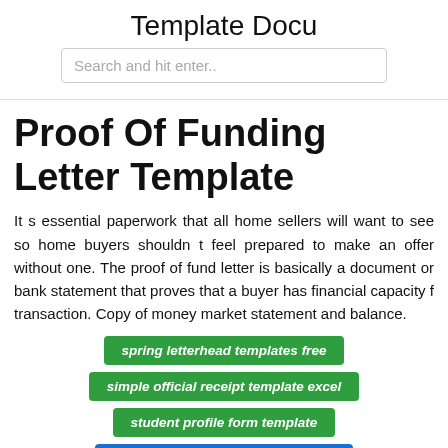Template Docu
Proof Of Funding Letter Template
It s essential paperwork that all home sellers will want to see so home buyers shouldn t feel prepared to make an offer without one. The proof of fund letter is basically a document or bank statement that proves that a buyer has financial capacity f transaction. Copy of money market statement and balance.
spring letterhead templates free
simple official receipt template excel
student profile form template
small business payroll slip sample
student reason for school transfer request sample